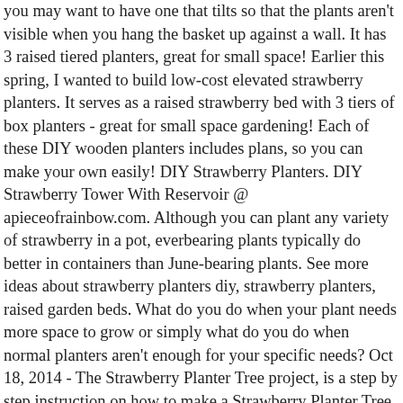you may want to have one that tilts so that the plants aren't visible when you hang the basket up against a wall. It has 3 raised tiered planters, great for small space! Earlier this spring, I wanted to build low-cost elevated strawberry planters. It serves as a raised strawberry bed with 3 tiers of box planters - great for small space gardening! Each of these DIY wooden planters includes plans, so you can make your own easily! DIY Strawberry Planters. DIY Strawberry Tower With Reservoir @ apieceofrainbow.com. Although you can plant any variety of strawberry in a pot, everbearing plants typically do better in containers than June-bearing plants. See more ideas about strawberry planters diy, strawberry planters, raised garden beds. What do you do when your plant needs more space to grow or simply what do you do when normal planters aren't enough for your specific needs? Oct 18, 2014 - The Strawberry Planter Tree project, is a step by step instruction on how to make a Strawberry Planter Tree for raising strawberries when space is tight. Keep the planter on the deck or patio for convenient access from the kitchen. The big issue is watering strawberry planters - whilst they've got these angled holes, as soon as the top layer of compost dries, water is almost repelled off them. This DIY tiered strawberry planter is perfect for...